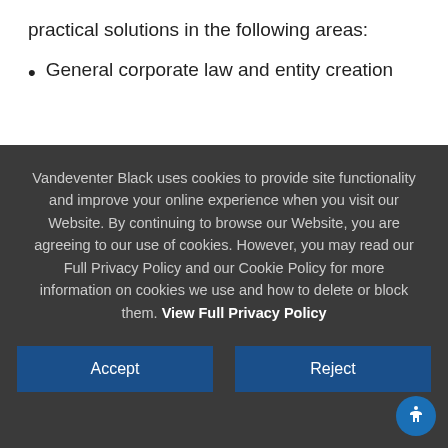practical solutions in the following areas:
General corporate law and entity creation
Vandeventer Black uses cookies to provide site functionality and improve your online experience when you visit our Website. By continuing to browse our Website, you are agreeing to our use of cookies. However, you may read our Full Privacy Policy and our Cookie Policy for more information on cookies we use and how to delete or block them. View Full Privacy Policy
Accept
Reject